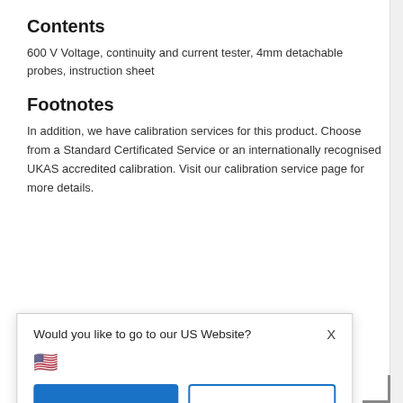Contents
600 V Voltage, continuity and current tester, 4mm detachable probes, instruction sheet
Footnotes
In addition, we have calibration services for this product. Choose from a Standard Certificated Service or an internationally recognised UKAS accredited calibration. Visit our calibration service page for more details.
[Figure (screenshot): Modal dialog asking 'Would you like to go to our US Website?' with a US flag emoji, Yes (blue filled) and No (blue outline) buttons, an 'or Choose country' link, and a 'Remember this choice and automatically redirect me in the future' checkbox]
Shopping Cart